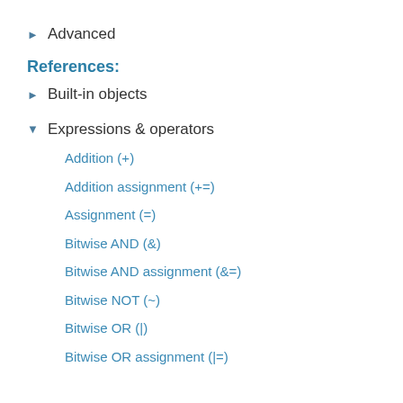Advanced
References:
Built-in objects
Expressions & operators
Addition (+)
Addition assignment (+=)
Assignment (=)
Bitwise AND (&)
Bitwise AND assignment (&=)
Bitwise NOT (~)
Bitwise OR (|)
Bitwise OR assignment (|=)